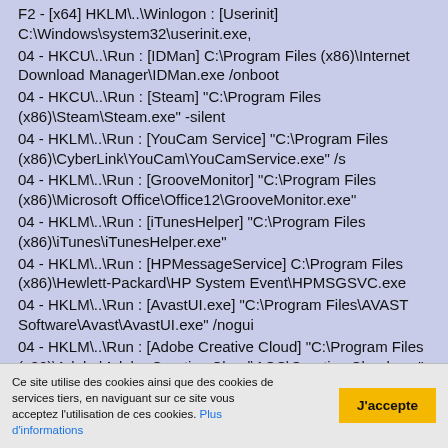F2 - [x64] HKLM\..\ Winlogon : [Userinit] C:\Windows\system32\userinit.exe,
04 - HKCU\..\Run : [IDMan] C:\Program Files (x86)\Internet Download Manager\IDMan.exe /onboot
04 - HKCU\..\Run : [Steam] "C:\Program Files (x86)\Steam\Steam.exe" -silent
04 - HKLM\..\Run : [YouCam Service] "C:\Program Files (x86)\CyberLink\YouCam\YouCamService.exe" /s
04 - HKLM\..\Run : [GrooveMonitor] "C:\Program Files (x86)\Microsoft Office\Office12\GrooveMonitor.exe"
04 - HKLM\..\Run : [iTunesHelper] "C:\Program Files (x86)\iTunes\iTunesHelper.exe"
04 - HKLM\..\Run : [HPMessageService] C:\Program Files (x86)\Hewlett-Packard\HP System Event\HPMSGSVC.exe
04 - HKLM\..\Run : [AvastUI.exe] "C:\Program Files\AVAST Software\Avast\AvastUI.exe" /nogui
04 - HKLM\..\Run : [Adobe Creative Cloud] "C:\Program Files (x86)\Adobe\Adobe Creative Cloud\ACC\Creative Cloud.exe" --showwindow=false --onOSstartup=true
04 - [x64] HKLM\..\Run : [IgfxTray]
Ce site utilise des cookies ainsi que des cookies de services tiers, en naviguant sur ce site vous acceptez l'utilisation de ces cookies. Plus d'informations